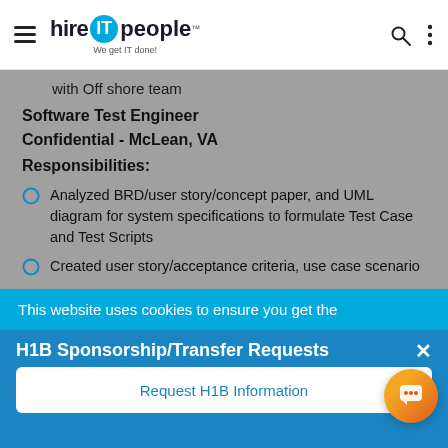hire IT people — We get IT done!
with Off shore team
Software Test Engineer
Confidential - McLean, VA
Responsibilities:
Analyzed BRD/user story/concept paper, and UML diagram for system specifications to formulate Test Case and Test Scripts
Created user story/acceptance criteria, use case scenario … the … spect
This website uses cookies to ensure you get the
H1B Sponsorship/Transfer Requests
Request H1B Information